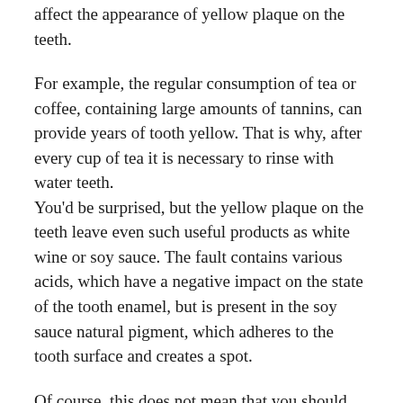affect the appearance of yellow plaque on the teeth.
For example, the regular consumption of tea or coffee, containing large amounts of tannins, can provide years of tooth yellow. That is why, after every cup of tea it is necessary to rinse with water teeth.
You'd be surprised, but the yellow plaque on the teeth leave even such useful products as white wine or soy sauce. The fault contains various acids, which have a negative impact on the state of the tooth enamel, but is present in the soy sauce natural pigment, which adheres to the tooth surface and creates a spot.
Of course, this does not mean that you should completely limit the consumption of these products, because they are of great benefit to the body. Just after every meal, it is necessary to rinse your teeth